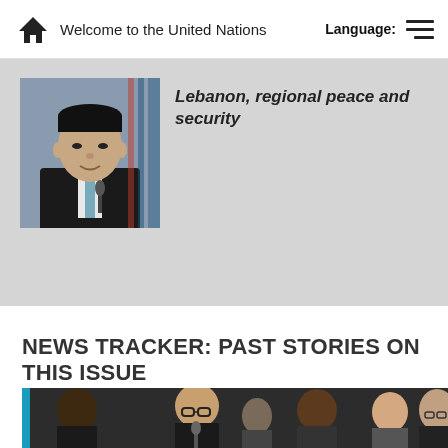Welcome to the United Nations  Language:
[Figure (photo): Asian male official speaking at a podium with flags in background]
Lebanon, regional peace and security
NEWS TRACKER: PAST STORIES ON THIS ISSUE
[Figure (photo): Ban Ki-moon and other officials seated at a conference table]